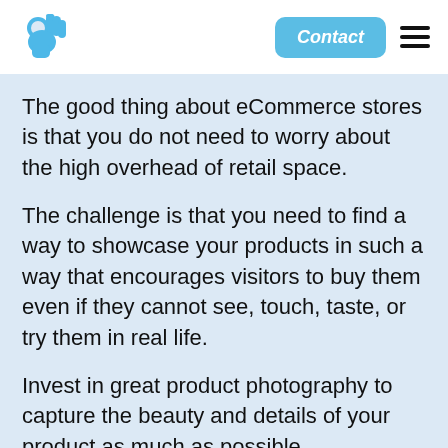[Figure (logo): Blue OK hand gesture icon logo in top left of header]
[Figure (other): Light blue rounded rectangle Contact button with italic text]
[Figure (other): Hamburger menu icon (three horizontal lines)]
The good thing about eCommerce stores is that you do not need to worry about the high overhead of retail space.
The challenge is that you need to find a way to showcase your products in such a way that encourages visitors to buy them even if they cannot see, touch, taste, or try them in real life.
Invest in great product photography to capture the beauty and details of your product as much as possible.